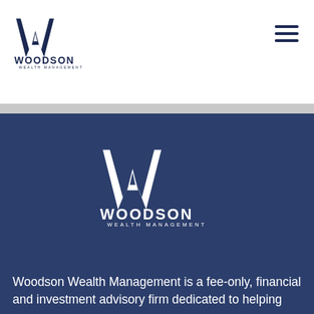[Figure (logo): Woodson Wealth Management logo (small, dark navy) in top-left header area with W mark and text WOODSON WEALTH MANAGEMENT]
[Figure (logo): Hamburger menu icon (three horizontal dark navy bars) in top-right header area]
[Figure (logo): Woodson Wealth Management large white logo centered in dark blue section with W mark and text WOODSON WEALTH MANAGEMENT]
Woodson Wealth Management is a fee-only, financial and investment advisory firm dedicated to helping you